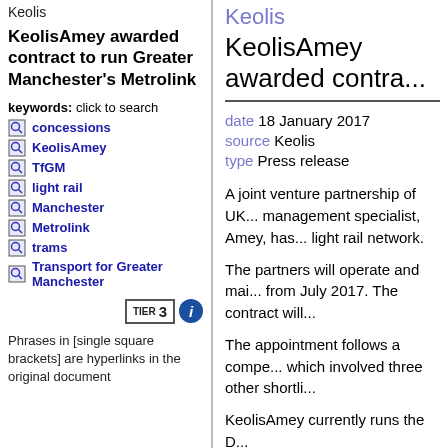Keolis
KeolisAmey awarded contract to run Greater Manchester's Metrolink
keywords: click to search
concessions
KeolisAmey
TfGM
light rail
Manchester
Metrolink
trams
Transport for Greater Manchester
[Figure (infographic): TIER 3 badge and information icon]
Phrases in [single square brackets] are hyperlinks in the original document
Keolis
KeolisAmey awarded contra...
date 18 January 2017
source Keolis
type Press release
A joint venture partnership of UK... management specialist, Amey, has... light rail network.
The partners will operate and mai... from July 2017. The contract will...
The appointment follows a compe... which involved three other shortli...
KeolisAmey currently runs the D...